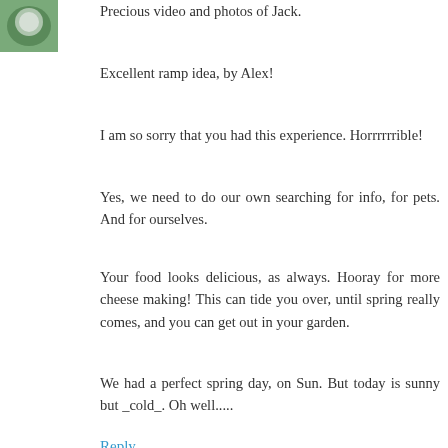[Figure (photo): Small avatar image of a flower or plant, green tones]
Precious video and photos of Jack.
Excellent ramp idea, by Alex!
I am so sorry that you had this experience. Horrrrrrible!
Yes, we need to do our own searching for info, for pets. And for ourselves.
Your food looks delicious, as always. Hooray for more cheese making! This can tide you over, until spring really comes, and you can get out in your garden.
We had a perfect spring day, on Sun. But today is sunny but _cold_. Oh well.....
Reply
[Figure (photo): Small avatar photo of two people, warm brown tones]
jack69  April 2, 2018 at 5:35 PM
As always the food looks too darn good! Meds in people and animals work different in each case. Most cases the side effects are minor. But on some folk they are tripled.